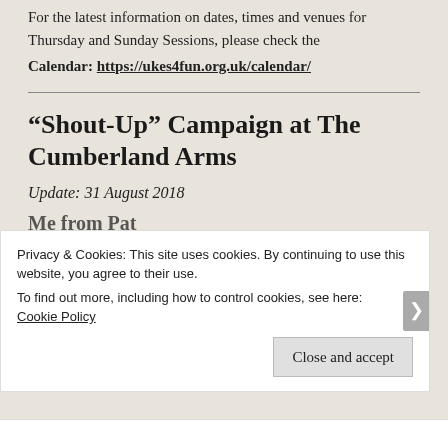For the latest information on dates, times and venues for Thursday and Sunday Sessions, please check the Calendar: https://ukes4fun.org.uk/calendar/
“Shout-Up” Campaign at The Cumberland Arms
Update: 31 August 2018
Message from Pat
Privacy & Cookies: This site uses cookies. By continuing to use this website, you agree to their use.
To find out more, including how to control cookies, see here: Cookie Policy
Close and accept